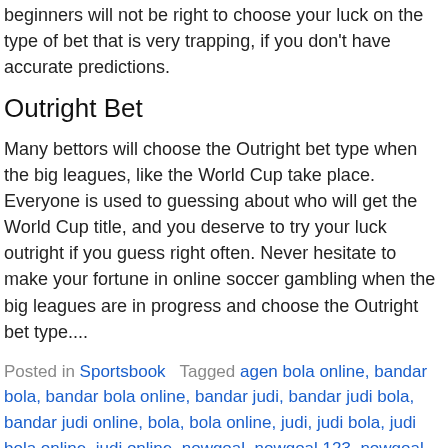beginners will not be right to choose your luck on the type of bet that is very trapping, if you don't have accurate predictions.
Outright Bet
Many bettors will choose the Outright bet type when the big leagues, like the World Cup take place. Everyone is used to guessing about who will get the World Cup title, and you deserve to try your luck outright if you guess right often. Never hesitate to make your fortune in online soccer gambling when the big leagues are in progress and choose the Outright bet type....
Posted in Sportsbook   Tagged agen bola online, bandar bola, bandar bola online, bandar judi, bandar judi bola, bandar judi online, bola, bola online, judi, judi bola, judi bola online, judi online, nowgoal, nowgoal 123, nowgoal bola, nowgoal livescore, nowgoal sportsbook, nowgoal878, nowgoal878.com, Several Betting Options Available on the Sportsbook Site, situs judi bola, taruhan bola